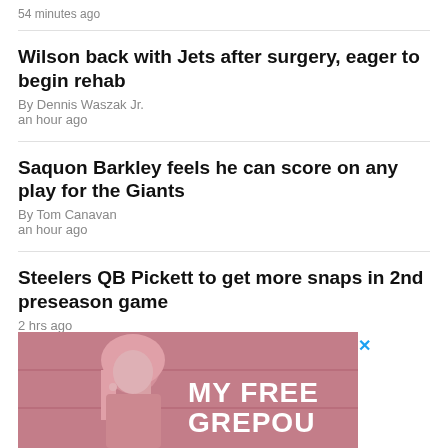54 minutes ago
Wilson back with Jets after surgery, eager to begin rehab
By Dennis Waszak Jr.
an hour ago
Saquon Barkley feels he can score on any play for the Giants
By Tom Canavan
an hour ago
Steelers QB Pickett to get more snaps in 2nd preseason game
2 hrs ago
[Figure (photo): Advertisement showing a woman with blonde hair against a pink-tinted background with text 'MY FREE GREPOUS' (partially visible). A blue X close button appears in the top right corner.]